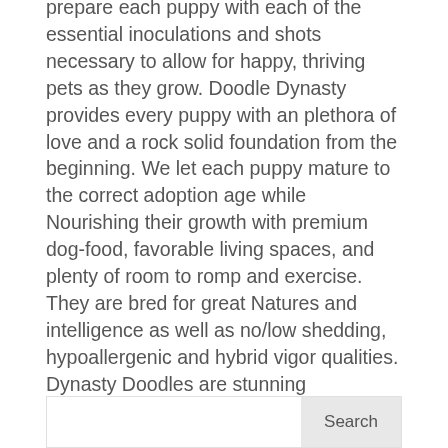prepare each puppy with each of the essential inoculations and shots necessary to allow for happy, thriving pets as they grow. Doodle Dynasty provides every puppy with an plethora of love and a rock solid foundation from the beginning. We let each puppy mature to the correct adoption age while Nourishing their growth with premium dog-food, favorable living spaces, and plenty of room to romp and exercise. They are bred for great Natures and intelligence as well as no/low shedding, hypoallergenic and hybrid vigor qualities. Dynasty Doodles are stunning Goldendoodles with soft, low to non-shedding coats. These are ideal pets for those looking for wonderful companions or family dogs, they are just the proper size to be the snuggly dogs they are designed to be. We appreciate what an profound addition a puppy can be to your family so we never compromise on our doodle's wellbeing, disposition, or intelligence.